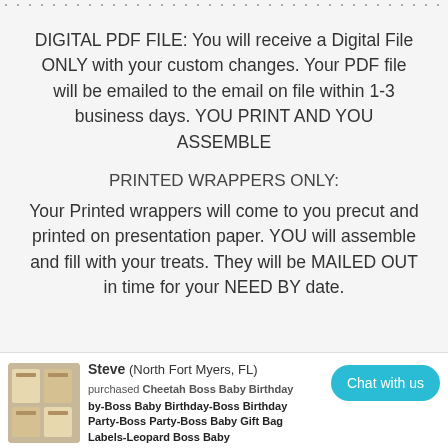DIGITAL PDF FILE: You will receive a Digital File ONLY with your custom changes. Your PDF file will be emailed to the email on file within 1-3 business days. YOU PRINT AND YOU ASSEMBLE
PRINTED WRAPPERS ONLY:
Your Printed wrappers will come to you precut and printed on presentation paper. YOU will assemble and fill with your treats. They will be MAILED OUT in time for your NEED BY date.
Steve (North Fort Myers, FL) purchased Cheetah Boss Baby Birthday...by-Boss Baby Birthday-Boss Birthday Party-Boss Party-Boss Baby Gift Bag Labels-Leopard Boss Baby
Chat with us